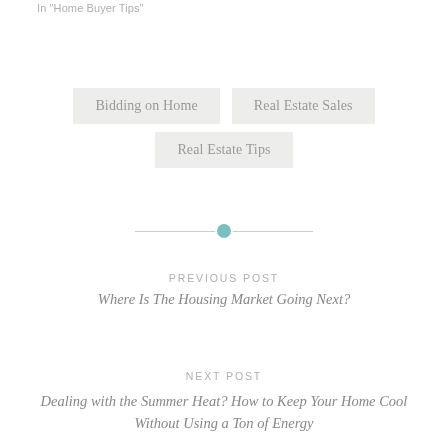In "Home Buyer Tips"
Bidding on Home
Real Estate Sales
Real Estate Tips
PREVIOUS POST
Where Is The Housing Market Going Next?
NEXT POST
Dealing with the Summer Heat? How to Keep Your Home Cool Without Using a Ton of Energy